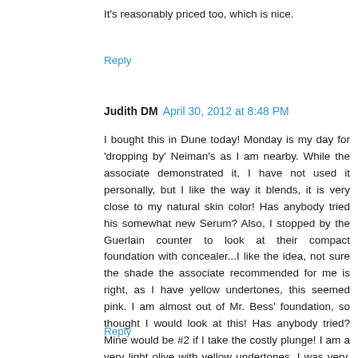It's reasonably priced too, which is nice.
Reply
Judith DM  April 30, 2012 at 8:48 PM
I bought this in Dune today! Monday is my day for 'dropping by' Neiman's as I am nearby. While the associate demonstrated it, I have not used it personally, but I like the way it blends, it is very close to my natural skin color! Has anybody tried his somewhat new Serum? Also, I stopped by the Guerlain counter to look at their compact foundation with concealer...I like the idea, not sure the shade the associate recommended for me is right, as I have yellow undertones, this seemed pink. I am almost out of Mr. Bess' foundation, so thought I would look at this! Has anybody tried? Mine would be #2 if I take the costly plunge! I am a very light olive with yellow undertones. I was very, very disappointed with the Guerlain fragrance selection at Neimans Beverly Hills, which was my main objective!!!!!!
Reply